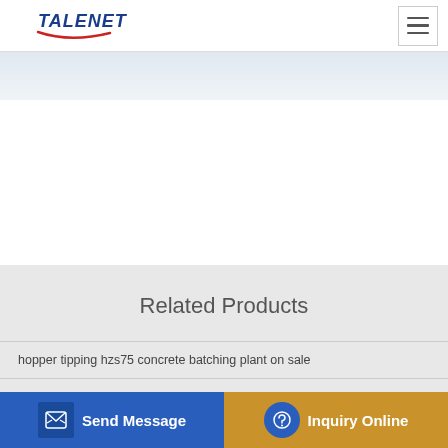TALENET
Related Products
hopper tipping hzs75 concrete batching plant on sale
Concrete Pumpers Magazine CPAA The Concrete Pumping
Lake Country Concrete Pumping in Anoka MN with Reviews
karoo mobile batch plant south africa 30